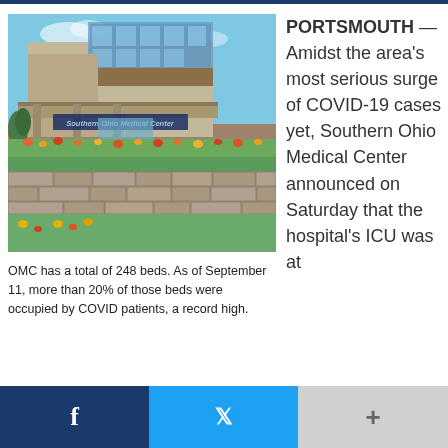[Figure (photo): Exterior photo of Southern Ohio Medical Center building with blue sky, modern architecture, and landscaped garden with stone wall in foreground]
OMC has a total of 248 beds. As of September 11, more than 20% of those beds were occupied by COVID patients, a record high.
PORTSMOUTH — Amidst the area's most serious surge of COVID-19 cases yet, Southern Ohio Medical Center announced on Saturday that the hospital's ICU was at